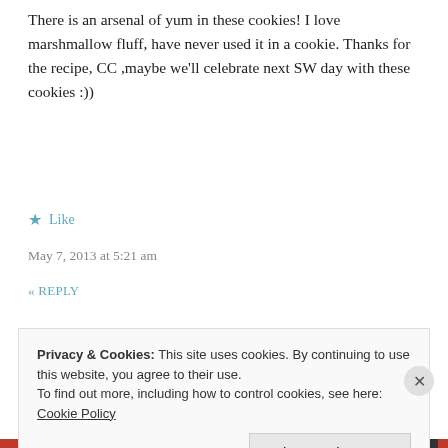There is an arsenal of yum in these cookies! I love marshmallow fluff, have never used it in a cookie. Thanks for the recipe, CC ,maybe we'll celebrate next SW day with these cookies :))
★ Like
May 7, 2013 at 5:21 am
« REPLY
[Figure (logo): Round avatar icon with teal/blue diamond cross pattern on white, olive green border circle]
Privacy & Cookies: This site uses cookies. By continuing to use this website, you agree to their use.
To find out more, including how to control cookies, see here:
Cookie Policy
Close and accept